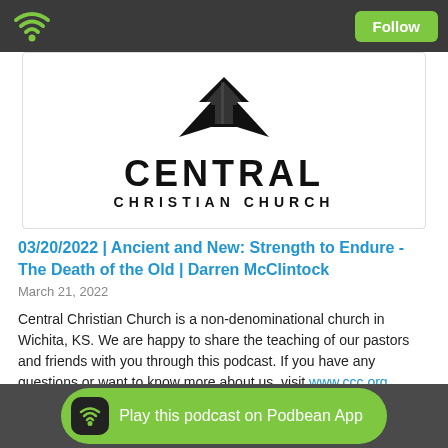Follow
[Figure (logo): Central Christian Church logo: black geometric cross/chevron shape above bold text CENTRAL CHRISTIAN CHURCH]
03/20/2022 | Ancient and New: Strength to Endure - The Death of the Old | Darren McClintock
March 21, 2022
Central Christian Church is a non-denominational church in Wichita, KS. We are happy to share the teaching of our pastors and friends with you through this podcast. If you have any questions or want to know more about us, visit www.ccc.org
Sermon Notes:
https://bible.com/events/48862065
Play this podcast on Podbean App